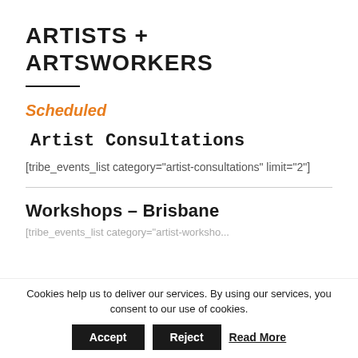ARTISTS + ARTSWORKERS
Scheduled
Artist Consultations
[tribe_events_list category="artist-consultations" limit="2"]
Workshops – Brisbane
[tribe_events_list category="artist-workshops-b…
Cookies help us to deliver our services. By using our services, you consent to our use of cookies.